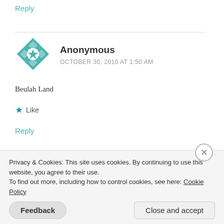Reply
[Figure (illustration): Teal/turquoise geometric avatar icon with snowflake/cross pattern]
Anonymous
OCTOBER 30, 2010 AT 1:50 AM
Beulah Land
★ Like
Reply
Privacy & Cookies: This site uses cookies. By continuing to use this website, you agree to their use.
To find out more, including how to control cookies, see here: Cookie Policy
Feedback
Close and accept